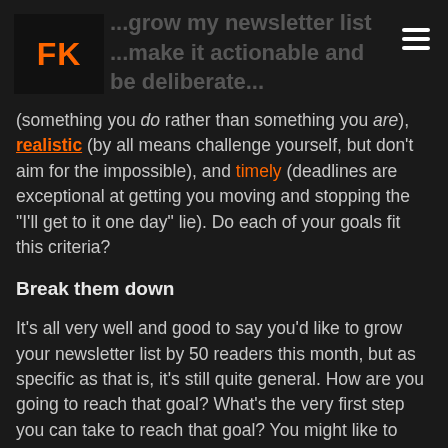FK
(something you do rather than something you are), realistic (by all means challenge yourself, but don't aim for the impossible), and timely (deadlines are exceptional at getting you moving and stopping the "I'll get to it one day" lie). Do each of your goals fit this criteria?
Break them down
It's all very well and good to say you'd like to grow your newsletter list by 50 readers this month, but as specific as that is, it's still quite general. How are you going to reach that goal? What's the very first step you can take to reach that goal? You might like to break it down by weekly tasks: